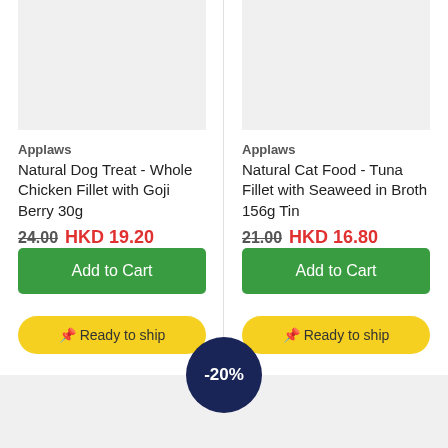[Figure (photo): Product image placeholder for Natural Dog Treat - Whole Chicken Fillet with Goji Berry 30g]
Applaws
Natural Dog Treat - Whole Chicken Fillet with Goji Berry 30g
24.00 HKD 19.20
Add to Cart
Ready to ship
[Figure (photo): Product image placeholder for Natural Cat Food - Tuna Fillet with Seaweed in Broth 156g Tin]
Applaws
Natural Cat Food - Tuna Fillet with Seaweed in Broth 156g Tin
21.00 HKD 16.80
Add to Cart
Ready to ship
-20%